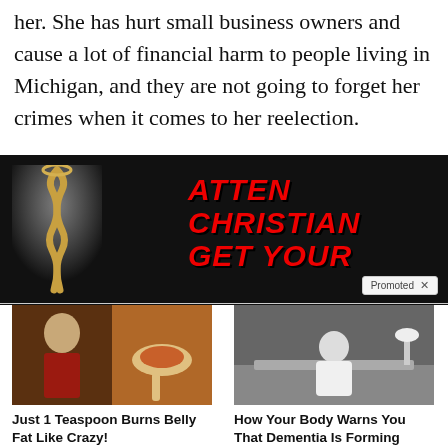her. She has hurt small business owners and cause a lot of financial harm to people living in Michigan, and they are not going to forget her crimes when it comes to her reelection.
[Figure (photo): Advertisement banner with black background showing a gold chain on the left and red bold italic text on the right reading 'ATTEN... CHRISTIAN... GET YOUR...' with a 'Promoted X' badge.]
[Figure (photo): Ad card image showing a fit person and a spoon with spice powder for 'Just 1 Teaspoon Burns Belly Fat Like Crazy!' with 2,297 engagements.]
Just 1 Teaspoon Burns Belly Fat Like Crazy!
🔥 2,297
[Figure (photo): Ad card image showing a person sitting on bed looking downward for 'How Your Body Warns You That Dementia Is Forming' with 49,825 engagements.]
How Your Body Warns You That Dementia Is Forming
🔥 49,825